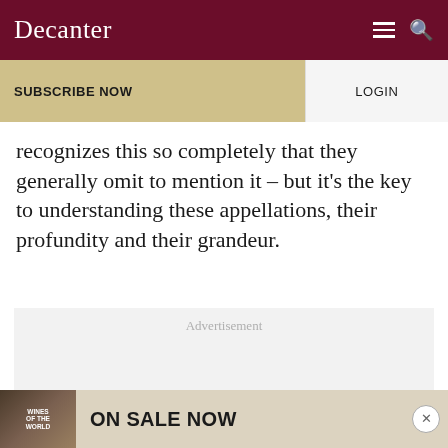Decanter
SUBSCRIBE NOW
LOGIN
recognizes this so completely that they generally omit to mention it – but it's the key to understanding these appellations, their profundity and their grandeur.
[Figure (other): Advertisement placeholder box with gray background and 'Advertisement' label]
[Figure (other): Bottom advertisement banner: Wines of the World book cover image with text 'ON SALE NOW']